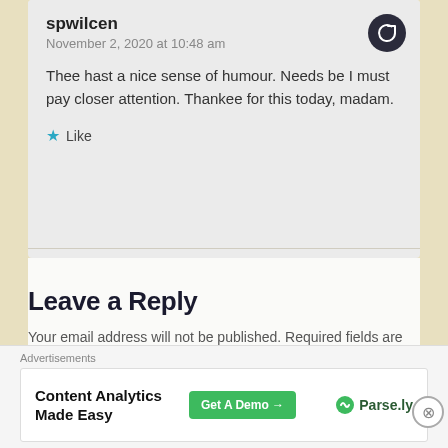spwilcen
November 2, 2020 at 10:48 am
Thee hast a nice sense of humour. Needs be I must pay closer attention. Thankee for this today, madam.
Like
Leave a Reply
Your email address will not be published. Required fields are marked
Advertisements
Content Analytics Made Easy
Get A Demo →
Parse.ly